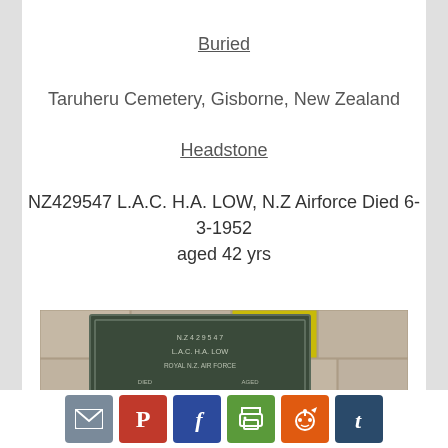Buried
Taruheru Cemetery, Gisborne, New Zealand
Headstone
NZ429547 L.A.C. H.A. LOW, N.Z Airforce Died 6-3-1952 aged 42 yrs
[Figure (photo): Photograph of a bronze or painted metal headstone plaque mounted on a stone wall, reading NZ429547 LAC H.A. LOW ROYAL N.Z. AIR FORCE DIED AGED]
Social sharing buttons: email, Pinterest, Facebook, print, Reddit, Tumblr